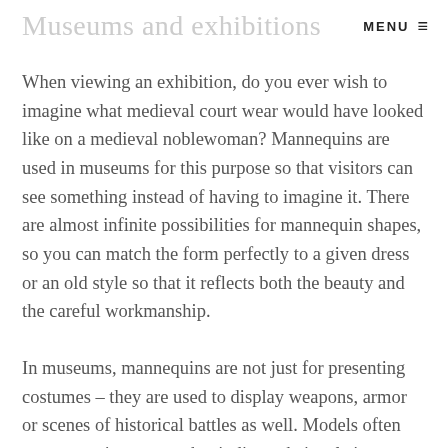Museums and exhibitions  MENU ≡
When viewing an exhibition, do you ever wish to imagine what medieval court wear would have looked like on a medieval noblewoman? Mannequins are used in museums for this purpose so that visitors can see something instead of having to imagine it. There are almost infinite possibilities for mannequin shapes, so you can match the form perfectly to a given dress or an old style so that it reflects both the beauty and the careful workmanship.
In museums, mannequins are not just for presenting costumes – they are used to display weapons, armor or scenes of historical battles as well. Models often assume various poses that indicate their role in...